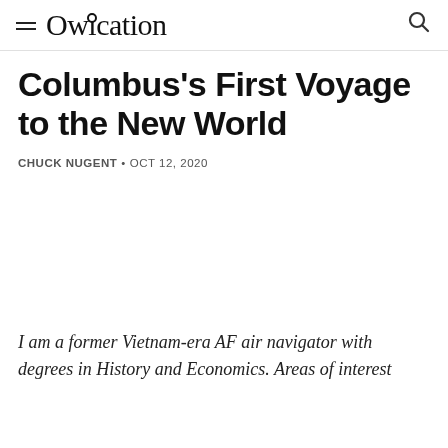Owlcation
Columbus's First Voyage to the New World
CHUCK NUGENT • OCT 12, 2020
I am a former Vietnam-era AF air navigator with degrees in History and Economics. Areas of interest